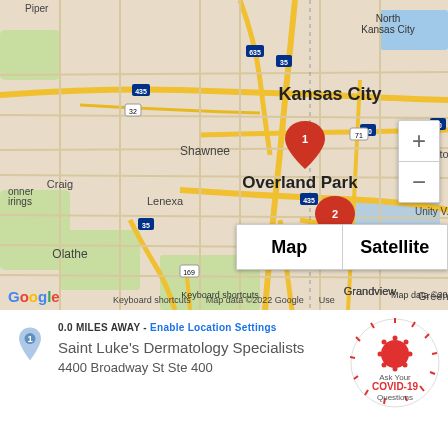[Figure (map): Google Maps showing Kansas City metro area with two red location pin markers. Pin 1 is in Kansas City near I-35/I-635, Pin 2 is in Overland Park near I-435. Map labels include North Kansas City, Kansas City, Independence, Shawnee, Overland Park, Raytown, Craig, Lenexa, Unity V., Olathe, Grandview, Lee's Summit, Greenwoo(d), Loc(k), Raymore, and highway numbers 435, 635, 35, 32, 71, 70, 435, 470, 35, 69, 169. Map/Satellite toggle and zoom controls visible. Google logo and attribution at bottom.]
0.0 MILES AWAY - Enable Location Settings
Saint Luke's Dermatology Specialists
4400 Broadway St Ste 400
[Figure (infographic): COVID-19 badge: circular badge with coronavirus graphic, text 'Ask Your COVID-19 Questions']